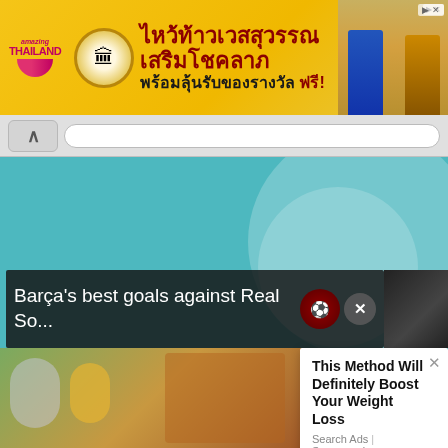[Figure (screenshot): Thai tourism banner advertisement with yellow/gold background, Amazing Thailand logo, Thai Buddhist temple emblem, Thai text 'ไหว้ท้าวเวสสุวรรณ เสริมโชคลาภ พร้อมลุ้นรับของรางวัล ฟรี!' and people on right side]
[Figure (screenshot): Browser UI bar with back chevron button and URL bar]
[Figure (screenshot): Teal/turquoise main content area of a webpage]
Barça's best goals against Real So...
[Figure (screenshot): Dark video overlay popup showing Barca football video with close X button and FC Barcelona badge icon]
This Method Will Definitely Boost Your Weight Loss
Search Ads | Sponsored
[Figure (photo): Bottom dark video area showing sports/football content]
[Figure (photo): Food/health related thumbnail image with fruits and drinks on the left side]